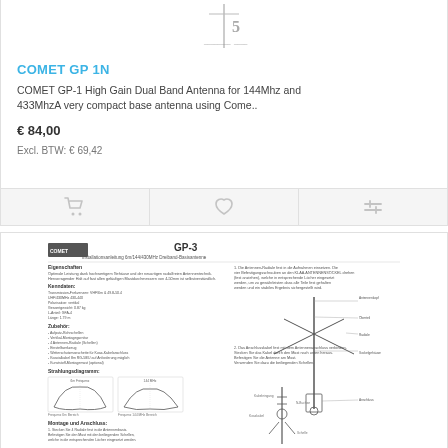[Figure (illustration): Top portion of antenna product image (cropped, showing top of antenna diagram)]
COMET GP 1N
COMET GP-1 High Gain Dual Band Antenna for 144Mhz and 433MhzA very compact base antenna using Come..
€ 84,00
Excl. BTW: € 69,42
[Figure (illustration): Three action icon buttons: shopping cart, heart/wishlist, compare sliders]
[Figure (engineering-diagram): Comet GP-3 antenna installation manual page showing specifications, radiation patterns, assembly diagrams with labeled components, and installation instructions in Dutch/German language]